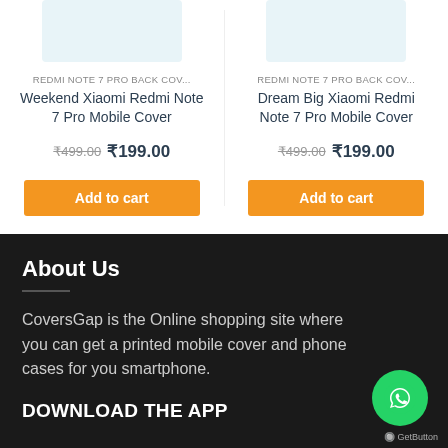REDMI NOTE 7 PRO BACK COV...
Weekend Xiaomi Redmi Note 7 Pro Mobile Cover
₹499.00  ₹199.00
Add to cart
REDMI NOTE 7 PRO BACK COV...
Dream Big Xiaomi Redmi Note 7 Pro Mobile Cover
₹499.00  ₹199.00
Add to cart
About Us
CoversGap is the Online shopping site where you can get a printed mobile cover and phone cases for you smartphone.
DOWNLOAD THE APP